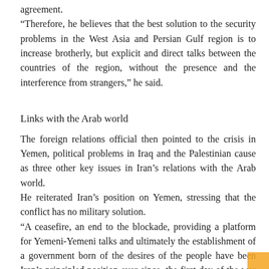agreement.
“Therefore, he believes that the best solution to the security problems in the West Asia and Persian Gulf region is to increase brotherly, but explicit and direct talks between the countries of the region, without the presence and the interference from strangers,” he said.
Links with the Arab world
The foreign relations official then pointed to the crisis in Yemen, political problems in Iraq and the Palestinian cause as three other key issues in Iran’s relations with the Arab world.
He reiterated Iran’s position on Yemen, stressing that the conflict has no military solution.
“A ceasefire, an end to the blockade, providing a platform for Yemeni-Yemeni talks and ultimately the establishment of a government born of the desires of the people have been Iran’s principled position ever since. the first day of the war in Yemen,” he said.
Iran also supports a strong and popular government in Iraq since the security of the two countries is linked, according to Kharrazi.